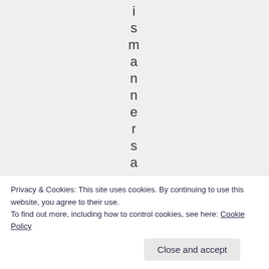i s m a n n e r s a r
Privacy & Cookies: This site uses cookies. By continuing to use this website, you agree to their use.
To find out more, including how to control cookies, see here: Cookie Policy
Close and accept